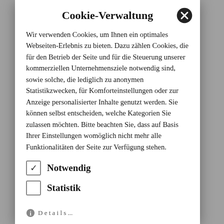Cookie-Verwaltung
Wir verwenden Cookies, um Ihnen ein optimales Webseiten-Erlebnis zu bieten. Dazu zählen Cookies, die für den Betrieb der Seite und für die Steuerung unserer kommerziellen Unternehmensziele notwendig sind, sowie solche, die lediglich zu anonymen Statistikzwecken, für Komforteinstellungen oder zur Anzeige personalisierter Inhalte genutzt werden. Sie können selbst entscheiden, welche Kategorien Sie zulassen möchten. Bitte beachten Sie, dass auf Basis Ihrer Einstellungen womöglich nicht mehr alle Funktionalitäten der Seite zur Verfügung stehen.
Notwendig (checked)
Statistik (unchecked)